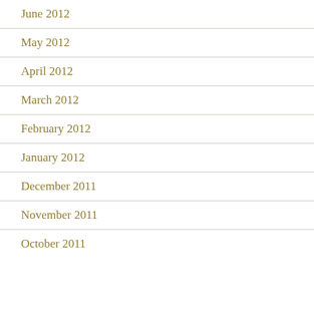June 2012
May 2012
April 2012
March 2012
February 2012
January 2012
December 2011
November 2011
October 2011